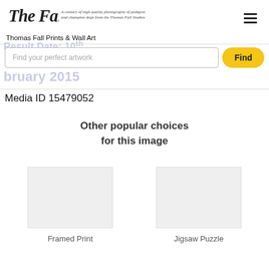Thomas Fall Prints & Wall Art
Result Date: 10th February 2015
Find your perfect artwork
Find
Media ID 15479052
Other popular choices for this image
Framed Print
Jigsaw Puzzle